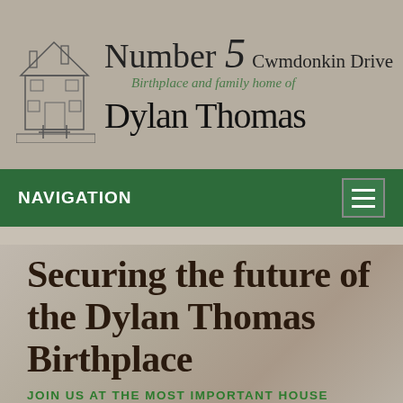[Figure (logo): Number 5 Cwmdonkin Drive logo with house illustration and Dylan Thomas signature. Text reads: Number 5 Cwmdonkin Drive, Birthplace and family home of, Dylan Thomas (signature style).]
NAVIGATION
Securing the future of the Dylan Thomas Birthplace
JOIN US AT THE MOST IMPORTANT HOUSE IN DYLAN'S LIFE